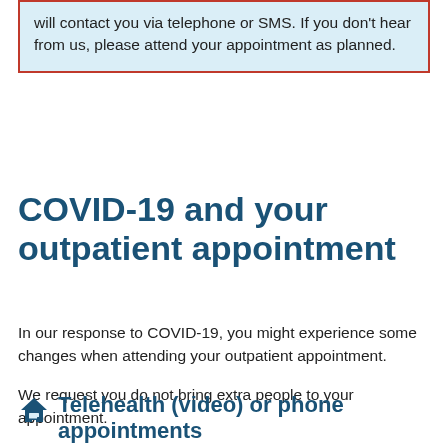will contact you via telephone or SMS. If you don’t hear from us, please attend your appointment as planned.
COVID-19 and your outpatient appointment
In our response to COVID-19, you might experience some changes when attending your outpatient appointment.
We request you do not bring extra people to your appointment.
Telehealth (video) or phone appointments